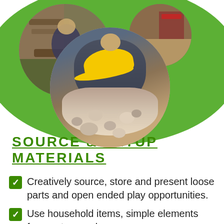[Figure (photo): Child wearing a yellow hat playing with rocks and natural materials outdoors, shown in circular photo frames on a green oval background]
SOURCE & SETUP MATERIALS
Creatively source, store and present loose parts and open ended play opportunities.
Use household items, simple elements from nature and common